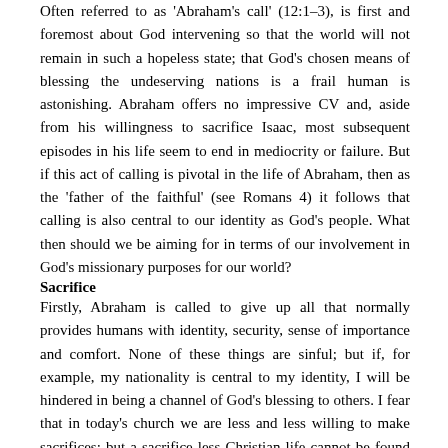Often referred to as 'Abraham's call' (12:1–3), is first and foremost about God intervening so that the world will not remain in such a hopeless state; that God's chosen means of blessing the undeserving nations is a frail human is astonishing. Abraham offers no impressive CV and, aside from his willingness to sacrifice Isaac, most subsequent episodes in his life seem to end in mediocrity or failure. But if this act of calling is pivotal in the life of Abraham, then as the 'father of the faithful' (see Romans 4) it follows that calling is also central to our identity as God's people. What then should we be aiming for in terms of our involvement in God's missionary purposes for our world?
Sacrifice
Firstly, Abraham is called to give up all that normally provides humans with identity, security, sense of importance and comfort. None of these things are sinful; but if, for example, my nationality is central to my identity, I will be hindered in being a channel of God's blessing to others. I fear that in today's church we are less and less willing to make sacrifices; but a sacrifice-less Christian life cannot be found on the pages of